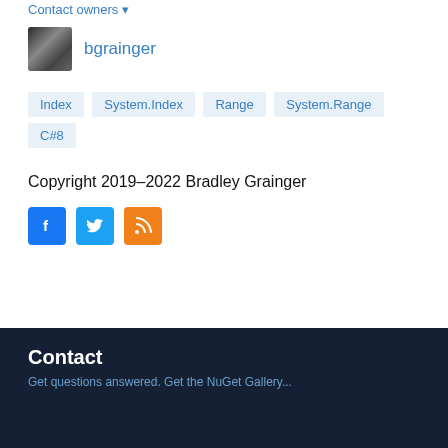Contact owners
bgrainger
Index
System.Index
Range
System.Range
C#8
Copyright 2019–2022 Bradley Grainger
[Figure (other): Social media icons: Facebook (blue), Twitter (blue), RSS (orange)]
Contact
Get questions answered. Get the NuGet Gallery...